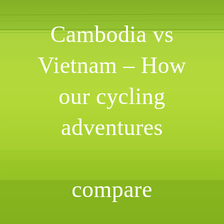[Figure (photo): Lush green rice paddy field background with vibrant yellow-green grass, slightly blurred, providing a natural outdoor backdrop.]
Cambodia vs Vietnam – How our cycling adventures compare